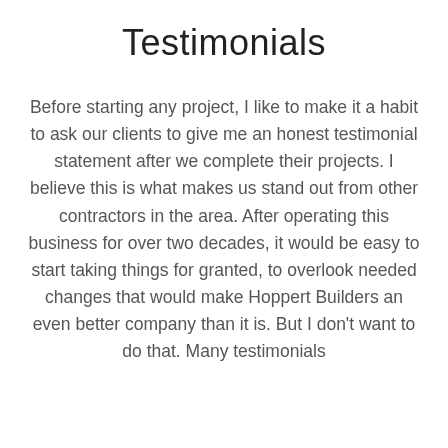Testimonials
Before starting any project, I like to make it a habit to ask our clients to give me an honest testimonial statement after we complete their projects. I believe this is what makes us stand out from other contractors in the area. After operating this business for over two decades, it would be easy to start taking things for granted, to overlook needed changes that would make Hoppert Builders an even better company than it is. But I don't want to do that. Many testimonials